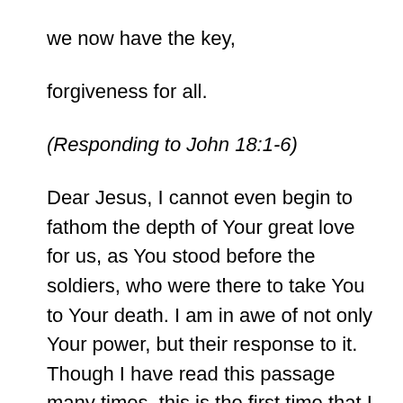we now have the key,
forgiveness for all.
(Responding to John 18:1-6)
Dear Jesus, I cannot even begin to fathom the depth of Your great love for us, as You stood before the soldiers, who were there to take You to Your death. I am in awe of not only Your power, but their response to it. Though I have read this passage many times, this is the first time that I could actually see, in my mind’s eye, the group who had come to arrest You, falling to the ground as You spoke Your Name! Thank You for willingly walking the long and